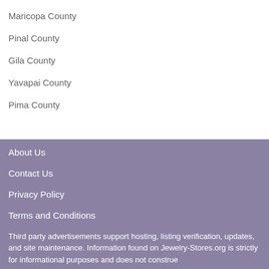Maricopa County
Pinal County
Gila County
Yavapai County
Pima County
About Us
Contact Us
Privacy Policy
Terms and Conditions
Third party advertisements support hosting, listing verification, updates, and site maintenance. Information found on Jewelry-Stores.org is strictly for informational purposes and does not construe advice or recommendations.